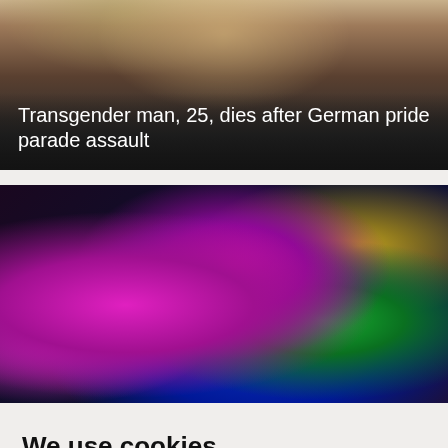[Figure (photo): Dark-toned photo of a person in costume at a pride event, partially visible against a blurred background. Text overlay at bottom reads the headline.]
Transgender man, 25, dies after German pride parade assault
[Figure (photo): Dark photo of colorful carnival/pride costumes featuring vivid pink and magenta feathered and ribbon decorations with green accents, illuminated against a dark background.]
We use cookies
We use cookies and other tracking technologies to improve your browsing experience on our website, to show you personalized content and targeted ads, to analyze our website traffic, and to understand where our visitors are coming from.